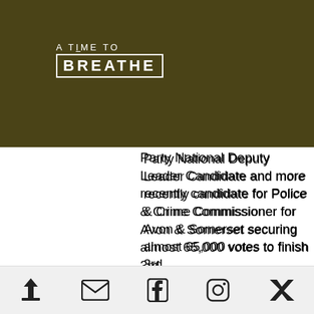[Figure (logo): A Time To Breathe logo in white text on dark olive/brown background, with a grid icon in a red-bordered square]
Party National Deputy Leader Candidate and more recently candidate for Police & Crime Commissioner for Avon & Somerset securing almost 65,000 votes to finish 3rd.
Involved within the arts and culture sector for almost two decades, Cleo's experience includes being Chair of St Pauls Carnival, Arts and Events Manager for Stapleton Road, Radio producer and presenter on Ujima, and writer in residence at the
Share | Email | Facebook | Instagram | Twitter icons